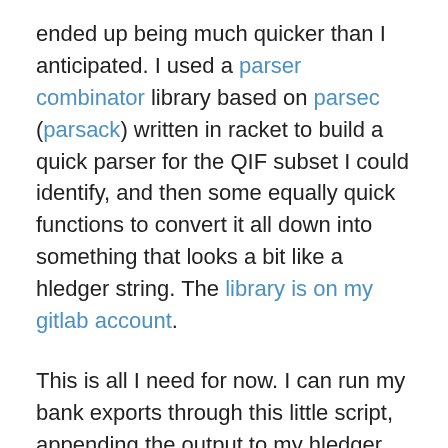ended up being much quicker than I anticipated. I used a parser combinator library based on parsec (parsack) written in racket to build a quick parser for the QIF subset I could identify, and then some equally quick functions to convert it all down into something that looks a bit like a hledger string. The library is on my gitlab account.
This is all I need for now. I can run my bank exports through this little script, appending the output to my hledger file. I just need to go in and remove any duplicates, filling out what category the expense lives in as I go and adding any notes.
In the future, it might be nice to add some